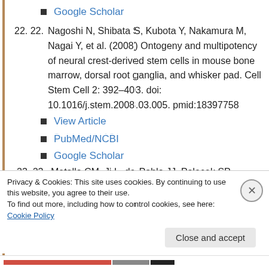Google Scholar
22. 22. Nagoshi N, Shibata S, Kubota Y, Nakamura M, Nagai Y, et al. (2008) Ontogeny and multipotency of neural crest-derived stem cells in mouse bone marrow, dorsal root ganglia, and whisker pad. Cell Stem Cell 2: 392–403. doi: 10.1016/j.stem.2008.03.005. pmid:18397758
View Article
PubMed/NCBI
Google Scholar
23. 23. Metallo CM, Ji L, de Pablo JJ, Palecek SP
Privacy & Cookies: This site uses cookies. By continuing to use this website, you agree to their use.
To find out more, including how to control cookies, see here: Cookie Policy